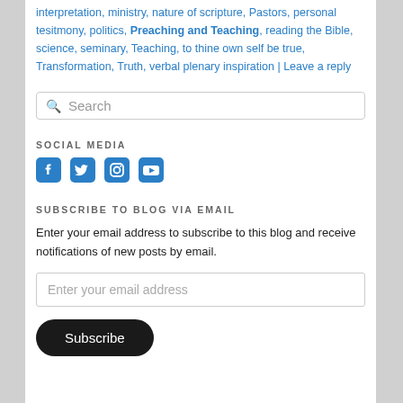interpretation, ministry, nature of scripture, Pastors, personal tesitmony, politics, Preaching and Teaching, reading the Bible, science, seminary, Teaching, to thine own self be true, Transformation, Truth, verbal plenary inspiration | Leave a reply
[Figure (screenshot): Search input box with magnifying glass icon and placeholder text 'Search']
SOCIAL MEDIA
[Figure (screenshot): Social media icons: Facebook, Twitter, Instagram, YouTube in blue]
SUBSCRIBE TO BLOG VIA EMAIL
Enter your email address to subscribe to this blog and receive notifications of new posts by email.
[Figure (screenshot): Email input field with placeholder 'Enter your email address']
[Figure (screenshot): Subscribe button, dark rounded pill shape]